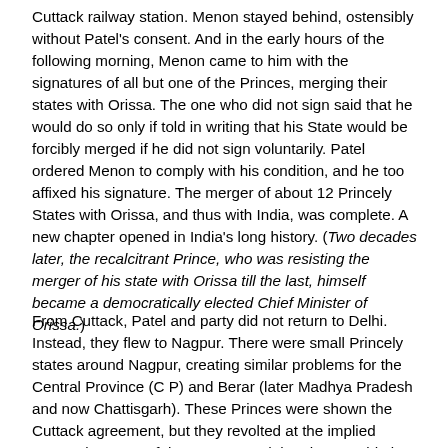Cuttack railway station. Menon stayed behind, ostensibly without Patel's consent. And in the early hours of the following morning, Menon came to him with the signatures of all but one of the Princes, merging their states with Orissa. The one who did not sign said that he would do so only if told in writing that his State would be forcibly merged if he did not sign voluntarily. Patel ordered Menon to comply with his condition, and he too affixed his signature. The merger of about 12 Princely States with Orissa, and thus with India, was complete. A new chapter opened in India's long history. (Two decades later, the recalcitrant Prince, who was resisting the merger of his state with Orissa till the last, himself became a democratically elected Chief Minister of Orissa.)
From Cuttack, Patel and party did not return to Delhi. Instead, they flew to Nagpur. There were small Princely states around Nagpur, creating similar problems for the Central Province (C P) and Berar (later Madhya Pradesh and now Chattisgarh). These Princes were shown the Cuttack agreement, but they revolted at the implied suggestion. One of them suggested that they would give the new Indian Government the same Paramountcy rights which the British had over the Princes.